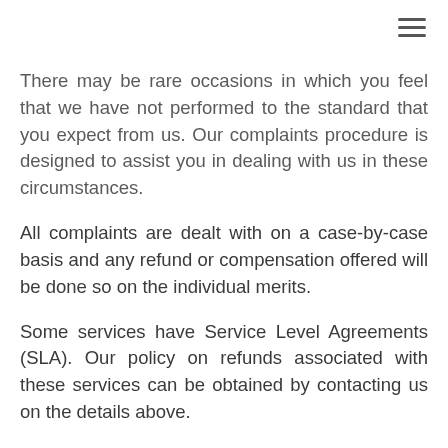There may be rare occasions in which you feel that we have not performed to the standard that you expect from us. Our complaints procedure is designed to assist you in dealing with us in these circumstances.
All complaints are dealt with on a case-by-case basis and any refund or compensation offered will be done so on the individual merits.
Some services have Service Level Agreements (SLA). Our policy on refunds associated with these services can be obtained by contacting us on the details above.
If you should have a complaint, your first point of contact is: The Operations Director who can be